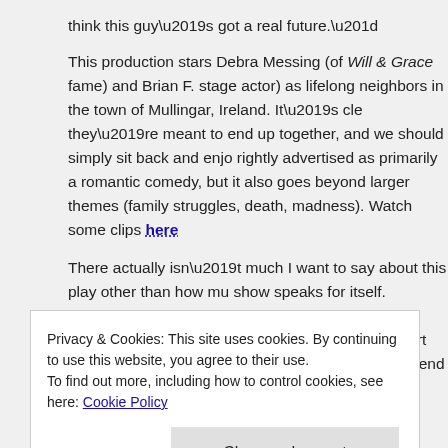think this guy’s got a real future.”
This production stars Debra Messing (of Will & Grace fame) and Brian F. stage actor) as lifelong neighbors in the town of Mullingar, Ireland. It’s cle they’re meant to end up together, and we should simply sit back and enjo rightly advertised as primarily a romantic comedy, but it also goes beyond larger themes (family struggles, death, madness). Watch some clips here
There actually isn’t much I want to say about this play other than how mu show speaks for itself. It’s so incredibly charming. Very, very funny. Great direction by Doug Hughes. An amazing, smart set design by John Lee Be Stage Manager is my friend Winnie Lok!
It’ll make you laugh. It’ll make you cry. It’ll surprise you. It’ll close on Marc
Outside Mullingar
Privacy & Cookies: This site uses cookies. By continuing to use this website, you agree to their use.
To find out more, including how to control cookies, see here: Cookie Policy
Close and accept